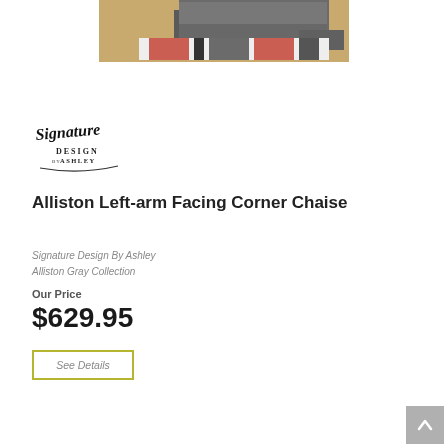[Figure (photo): Product photo of Alliston Left-arm Facing Corner Chaise sofa with gray upholstery on a patterned red and black area rug, wood floor background]
[Figure (logo): Signature Design by Ashley script logo in black]
Alliston Left-arm Facing Corner Chaise
Signature Design By Ashley
Alliston Gray Collection
Our Price
$629.95
See Details